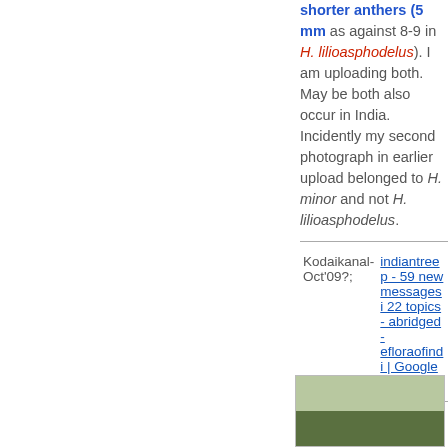shorter anthers (5 mm as against 8-9 in H. lilioasphodelus). I am uploading both. May be both also occur in India. Incidently my second photograph in earlier upload belonged to H. minor and not H. lilioasphodelus.
| Kodaikanal- Oct'09?: | indiantreep - 59 new messages in 22 topics - abridged - efloraofindi | Google Groups |
[Figure (photo): Partial photo of a plant, partially visible at bottom of page]